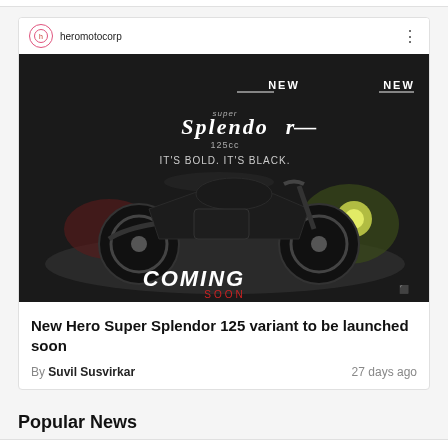[Figure (screenshot): Instagram post from heromotocorp showing a dark motorcycle teaser image with text 'NEW Super Splendor 125cc IT'S BOLD. IT'S BLACK.' and 'COMING SOON' at the bottom]
New Hero Super Splendor 125 variant to be launched soon
By Suvil Susvirkar    27 days ago
Popular News